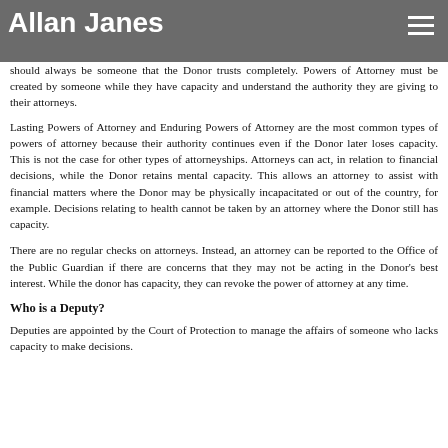Allan Janes
should always be someone that the Donor trusts completely. Powers of Attorney must be created by someone while they have capacity and understand the authority they are giving to their attorneys.
Lasting Powers of Attorney and Enduring Powers of Attorney are the most common types of powers of attorney because their authority continues even if the Donor later loses capacity. This is not the case for other types of attorneyships. Attorneys can act, in relation to financial decisions, while the Donor retains mental capacity. This allows an attorney to assist with financial matters where the Donor may be physically incapacitated or out of the country, for example. Decisions relating to health cannot be taken by an attorney where the Donor still has capacity.
There are no regular checks on attorneys. Instead, an attorney can be reported to the Office of the Public Guardian if there are concerns that they may not be acting in the Donor's best interest. While the donor has capacity, they can revoke the power of attorney at any time.
Who is a Deputy?
Deputies are appointed by the Court of Protection to manage the affairs of someone who lacks capacity to make decisions.